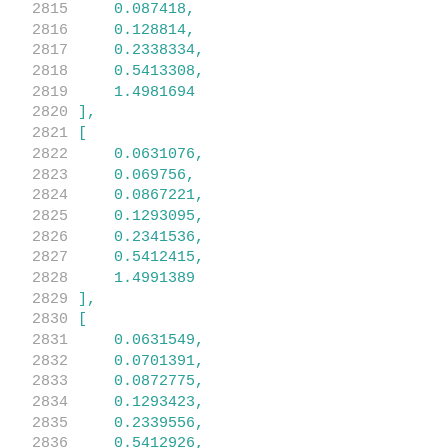2815    0.087418,
2816    0.128814,
2817    0.2338334,
2818    0.5413308,
2819    1.4981694
2820    ],
2821    [
2822    0.0631076,
2823    0.069756,
2824    0.0867221,
2825    0.1293095,
2826    0.2341536,
2827    0.5412415,
2828    1.4991389
2829    ],
2830    [
2831    0.0631549,
2832    0.0701391,
2833    0.0872775,
2834    0.1293423,
2835    0.2339556,
2836    0.5412926,